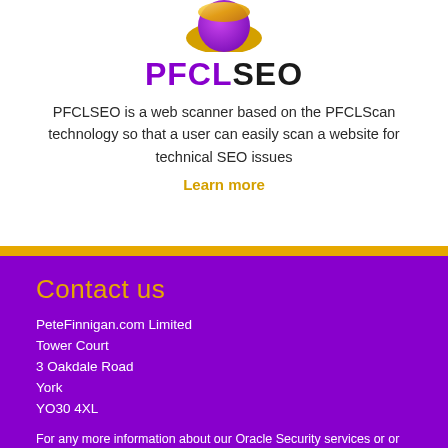[Figure (logo): PFCL circular logo with gold and purple gradient at top]
PFCLSEO
PFCLSEO is a web scanner based on the PFCLScan technology so that a user can easily scan a website for technical SEO issues
Learn more
Contact us
PeteFinnigan.com Limited
Tower Court
3 Oakdale Road
York
YO30 4XL
For any more information about our Oracle Security services or or our products to help you secure your Oracle database or our expert Oracle Security training please call us now on +44 (0)1904 557620 or contact us by email at info@petefinnigan.com